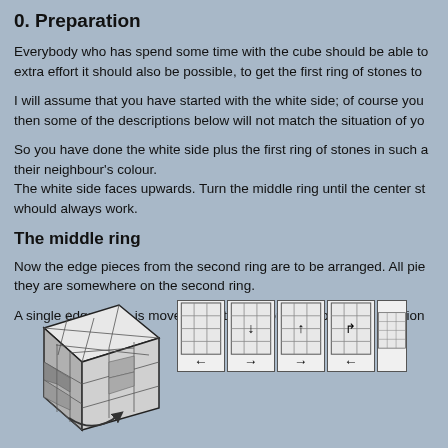0. Preparation
Everybody who has spend some time with the cube should be able to extra effort it should also be possible, to get the first ring of stones to
I will assume that you have started with the white side; of course you then some of the descriptions below will not match the situation of yo
So you have done the white side plus the first ring of stones in such a their neighbour's colour.
The white side faces upwards. Turn the middle ring until the center st whould always work.
The middle ring
Now the edge pieces from the second ring are to be arranged. All pie they are somewhere on the second ring.
A single edge piece is moved from the bottom ring to its final position
[Figure (illustration): A 3D Rubik's cube drawing with white/gray colored faces, with an arrow on the bottom face indicating rotation]
[Figure (illustration): A sequence of 6 small Rubik's cube face diagrams showing move sequences with arrows indicating direction of moves (left, down, right, up, right, curve-right, left)]